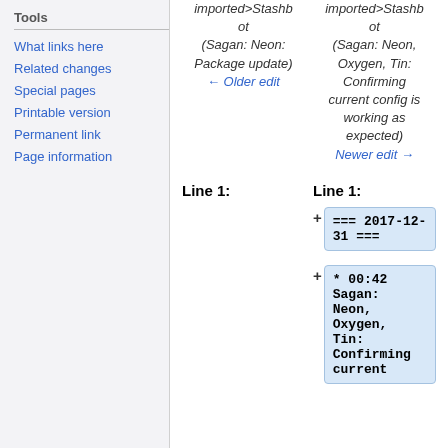Tools
What links here
Related changes
Special pages
Printable version
Permanent link
Page information
imported>Stashbot
(Sagan: Neon: Package update)
← Older edit
imported>Stashbot
(Sagan: Neon, Oxygen, Tin: Confirming current config is working as expected)
Newer edit →
Line 1:
Line 1:
=== 2017-12-31 ===
* 00:42 Sagan: Neon, Oxygen, Tin: Confirming current